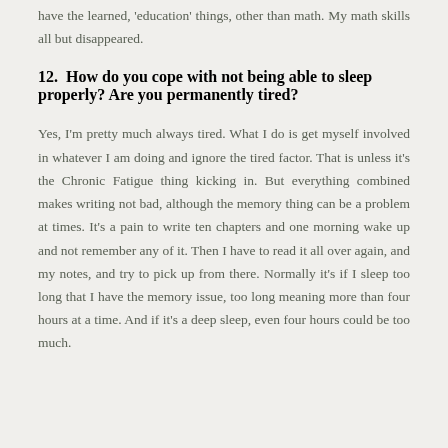have the learned, 'education' things, other than math. My math skills all but disappeared.
12.  How do you cope with not being able to sleep properly? Are you permanently tired?
Yes, I'm pretty much always tired. What I do is get myself involved in whatever I am doing and ignore the tired factor. That is unless it's the Chronic Fatigue thing kicking in. But everything combined makes writing not bad, although the memory thing can be a problem at times. It's a pain to write ten chapters and one morning wake up and not remember any of it. Then I have to read it all over again, and my notes, and try to pick up from there. Normally it's if I sleep too long that I have the memory issue, too long meaning more than four hours at a time. And if it's a deep sleep, even four hours could be too much.